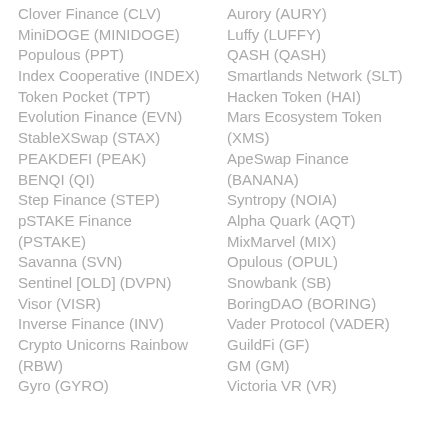Clover Finance (CLV)
Aurory (AURY)
MiniDOGE (MINIDOGE)
Luffy (LUFFY)
Populous (PPT)
QASH (QASH)
Index Cooperative (INDEX)
Smartlands Network (SLT)
Token Pocket (TPT)
Hacken Token (HAI)
Evolution Finance (EVN)
Mars Ecosystem Token (XMS)
StableXSwap (STAX)
ApeSwap Finance (BANANA)
PEAKDEFI (PEAK)
Syntropy (NOIA)
BENQI (QI)
Alpha Quark (AQT)
Step Finance (STEP)
MixMarvel (MIX)
pSTAKE Finance (PSTAKE)
Opulous (OPUL)
Savanna (SVN)
Snowbank (SB)
Sentinel [OLD] (DVPN)
BoringDAO (BORING)
Visor (VISR)
Vader Protocol (VADER)
Inverse Finance (INV)
GuildFi (GF)
Crypto Unicorns Rainbow (RBW)
GM (GM)
Gyro (GYRO)
Victoria VR (VR)